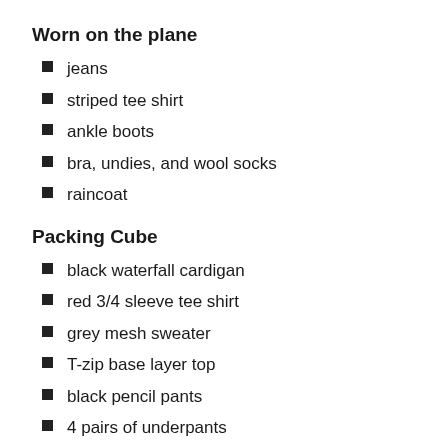Worn on the plane
jeans
striped tee shirt
ankle boots
bra, undies, and wool socks
raincoat
Packing Cube
black waterfall cardigan
red 3/4 sleeve tee shirt
grey mesh sweater
T-zip base layer top
black pencil pants
4 pairs of underpants
work to workout bra